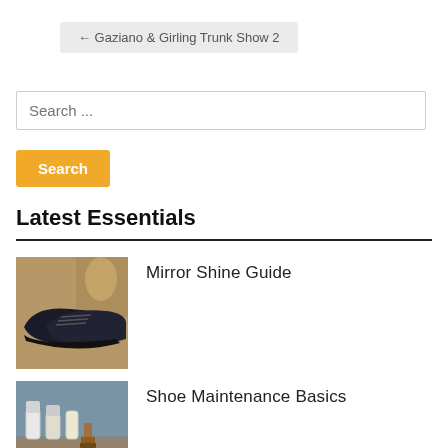← Gaziano & Girling Trunk Show 2
Search ...
Search
Latest Essentials
Mirror Shine Guide
[Figure (photo): Dark leather oxford dress shoes on a wooden surface with decorative items in background]
Shoe Maintenance Basics
[Figure (photo): Shoe maintenance products and tools including bottles and brushes on a surface]